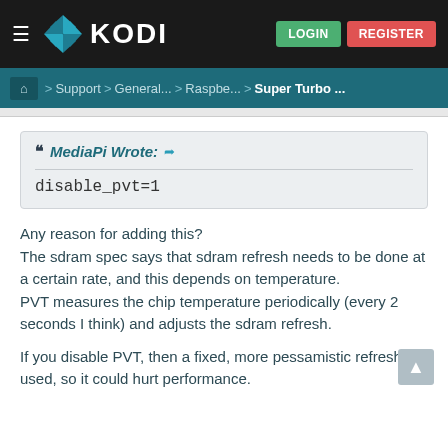[Figure (screenshot): Kodi website navigation bar with hamburger menu, Kodi logo, LOGIN and REGISTER buttons]
Home > Support > General... > Raspbe... > Super Turbo ...
MediaPi Wrote:
disable_pvt=1
Any reason for adding this?
The sdram spec says that sdram refresh needs to be done at a certain rate, and this depends on temperature.
PVT measures the chip temperature periodically (every 2 seconds I think) and adjusts the sdram refresh.

If you disable PVT, then a fixed, more pessamistic refresh is used, so it could hurt performance.